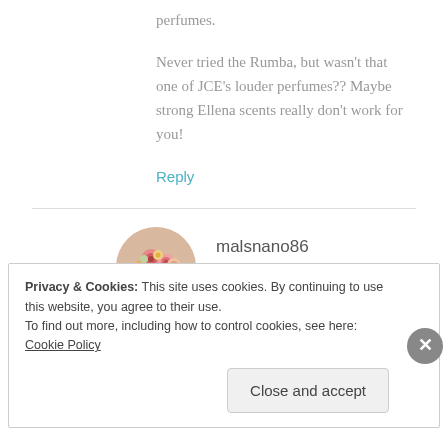perfumes.
Never tried the Rumba, but wasn't that one of JCE's louder perfumes?? Maybe strong Ellena scents really don't work for you!
Reply
malsnano86
JUNE 6, 2012 AT 1:49 PM
Privacy & Cookies: This site uses cookies. By continuing to use this website, you agree to their use.
To find out more, including how to control cookies, see here: Cookie Policy
Close and accept